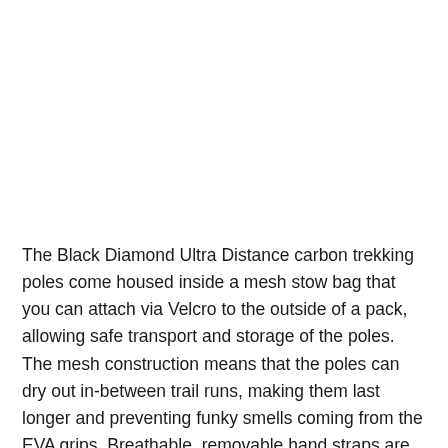The Black Diamond Ultra Distance carbon trekking poles come housed inside a mesh stow bag that you can attach via Velcro to the outside of a pack, allowing safe transport and storage of the poles. The mesh construction means that the poles can dry out in-between trail runs, making them last longer and preventing funky smells coming from the EVA grips. Breathable, removable hand straps are also present on the poles, keeping them from falling over or dropping down a cliff should you need to quickly use your hands for something. The straps on the poles also